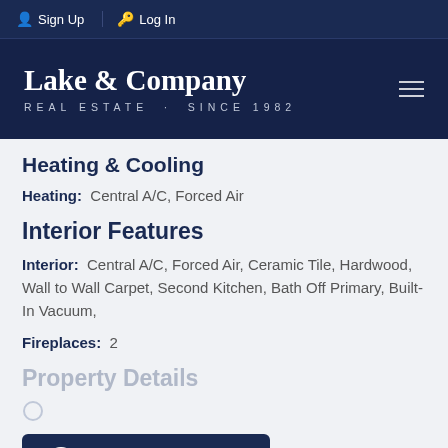Sign Up  Log In
Lake & Company REAL ESTATE · SINCE 1982
Heating & Cooling
Heating: Central A/C, Forced Air
Interior Features
Interior: Central A/C, Forced Air, Ceramic Tile, Hardwood, Wall to Wall Carpet, Second Kitchen, Bath Off Primary, Built-In Vacuum,
Fireplaces: 2
Property Details
Read More